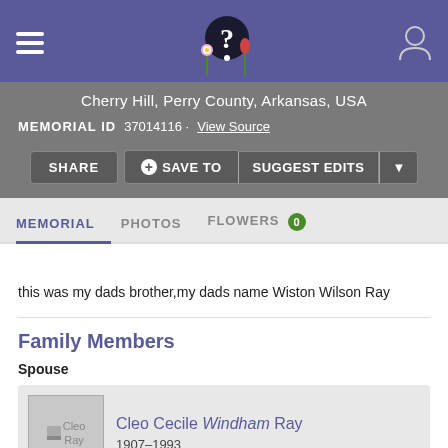Cherry Hill, Perry County, Arkansas, USA
MEMORIAL ID 37014116 · View Source
SHARE  + SAVE TO  SUGGEST EDITS
MEMORIAL  PHOTOS  FLOWERS 0
this was my dads brother,my dads name Wiston Wilson Ray
Family Members
Spouse
| Image | Name | Years |
| --- | --- | --- |
| Cleo Ray | Cleo Cecile Windham Ray | 1907–1993 |